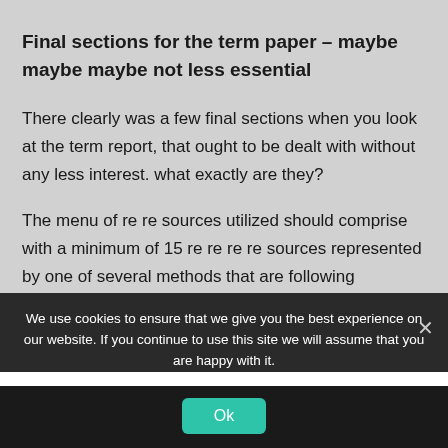Final sections for the term paper – maybe maybe maybe not less essential
There clearly was a few final sections when you look at the term report, that ought to be dealt with without any less interest. what exactly are they?
The menu of re re sources utilized should comprise with a minimum of 15 re re re re sources represented by one of several methods that are following
We use cookies to ensure that we give you the best experience on our website. If you continue to use this site we will assume that you are happy with it.